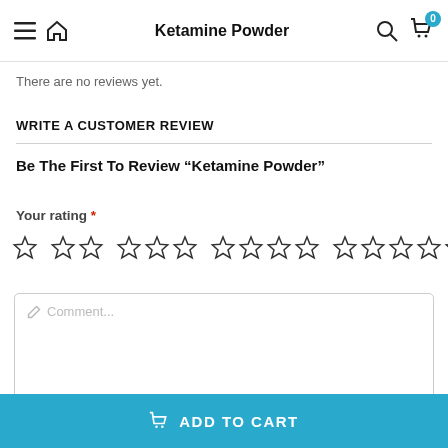Ketamine Powder
There are no reviews yet.
WRITE A CUSTOMER REVIEW
Be The First To Review “Ketamine Powder”
Your rating *
[Figure (other): Star rating selector with 1, 2, 3, 4, and 5 empty star options]
Comment...
ADD TO CART